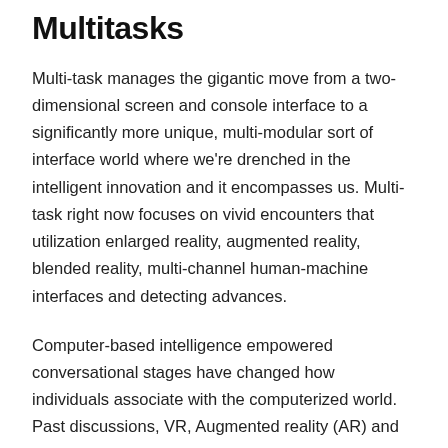Multitasks
Multi-task manages the gigantic move from a two-dimensional screen and console interface to a significantly more unique, multi-modular sort of interface world where we're drenched in the intelligent innovation and it encompasses us. Multi-task right now focuses on vivid encounters that utilization enlarged reality, augmented reality, blended reality, multi-channel human-machine interfaces and detecting advances.
Computer-based intelligence empowered conversational stages have changed how individuals associate with the computerized world. Past discussions, VR, Augmented reality (AR) and MR is changing how individuals see the computerized world.